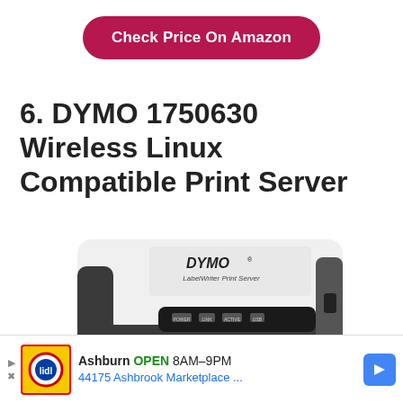Check Price On Amazon
6. DYMO 1750630 Wireless Linux Compatible Print Server
[Figure (photo): DYMO LabelWriter Print Server device — white and black flat box with POWER, LINK, ACTIVE, USB indicator labels on front panel]
Ashburn OPEN 8AM–9PM 44175 Ashbrook Marketplace ...